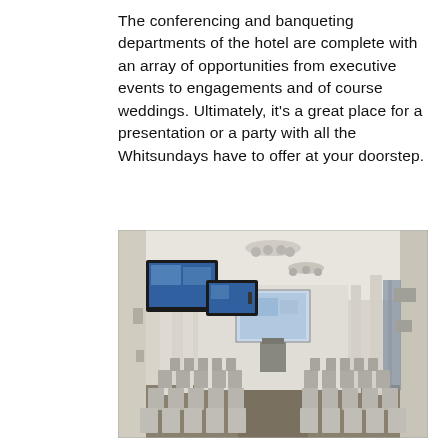The conferencing and banqueting departments of the hotel are complete with an array of opportunities from executive events to engagements and of course weddings. Ultimately, it's a great place for a presentation or a party with all the Whitsundays have to offer at your doorstep.
[Figure (photo): Interior of a hotel conference/banquet room set up in theatre style with rows of grey chairs facing a projection screen at the front. Two large monitors hang from the ceiling on mounts. Chandeliers and ceiling lights illuminate the space. White columns line the sides and curtained windows are visible on the right.]